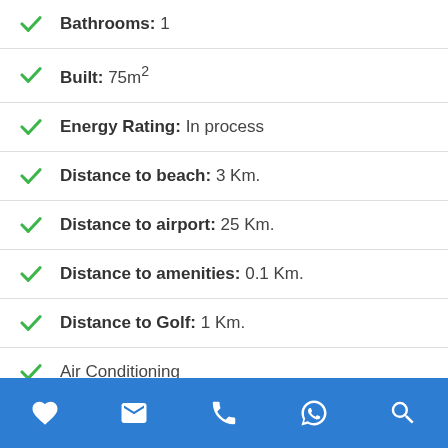Bathrooms: 1
Built: 75m²
Energy Rating: In process
Distance to beach: 3 Km.
Distance to airport: 25 Km.
Distance to amenities: 0.1 Km.
Distance to Golf: 1 Km.
Air Conditioning
Favourite | Email | Phone | WhatsApp | Search